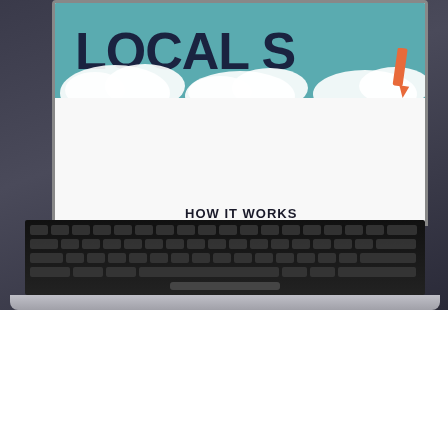[Figure (photo): A laptop computer photographed from the front-left angle showing its screen displaying a 'Local SEO - How It Works' infographic webpage with colorful icons and clouds. The laptop keyboard is visible in the foreground against a dark blurred background.]
Lokaal
Hoe werkt Lokale SEO in regio